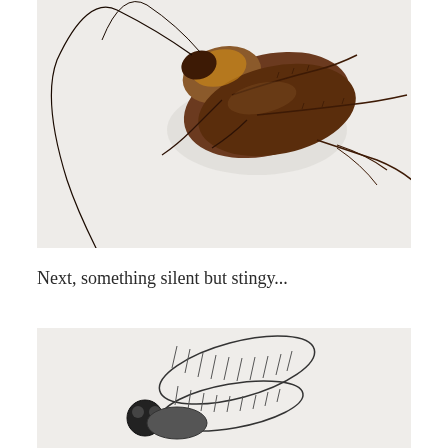[Figure (photo): Close-up photograph of a cockroach on a light grey/white background. The cockroach is brown with long antennae and visible legs with spines.]
Next, something silent but stingy...
[Figure (illustration): Partial line drawing/illustration of what appears to be a bee or wasp, showing two wings with hatched stripes and a round head with eyes, drawn in black outline on a light background.]